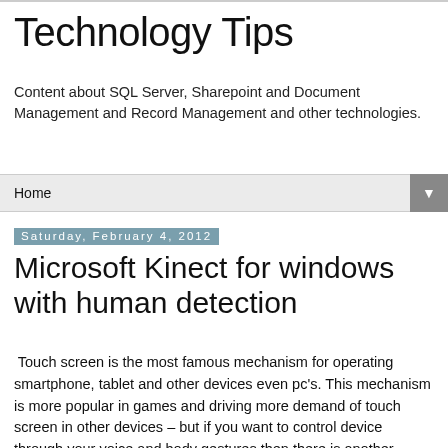Technology Tips
Content about SQL Server, Sharepoint and Document Management and Record Management and other technologies.
Home
Saturday, February 4, 2012
Microsoft Kinect for windows with human detection
Touch screen is the most famous mechanism for operating smartphone, tablet and other devices even pc's. This mechanism is more popular in games and driving more demand of touch screen in other devices – but if you want to control device through your voice and body gestures then there is another device called Microsoft Kinect ...